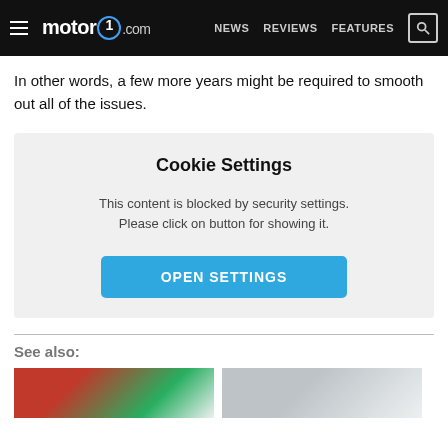motor1.com | NEWS | REVIEWS | FEATURES
In other words, a few more years might be required to smooth out all of the issues.
Cookie Settings
This content is blocked by security settings. Please click on button for showing it.
OPEN SETTINGS
See also:
[Figure (photo): Two thumbnail images below the See also section]